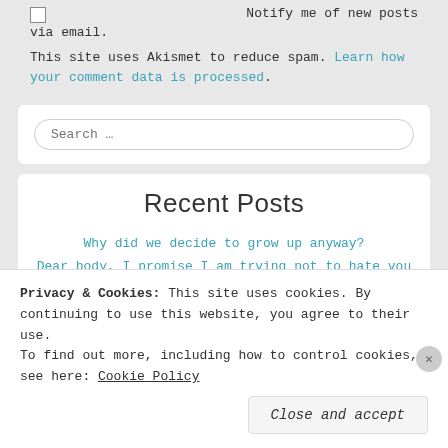Notify me of new posts via email.
This site uses Akismet to reduce spam. Learn how your comment data is processed.
Search ...
Recent Posts
Why did we decide to grow up anyway?
Dear body, I promise I am trying not to hate you so much
I can assure you, there is absolutely nothing wrong with my daughter
One is the loneliest number
Privacy & Cookies: This site uses cookies. By continuing to use this website, you agree to their use.
To find out more, including how to control cookies, see here: Cookie Policy
Close and accept